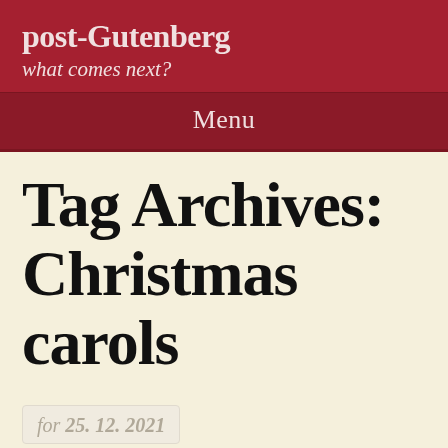post-Gutenberg
what comes next?
Menu
Tag Archives: Christmas carols
for 25. 12. 2021